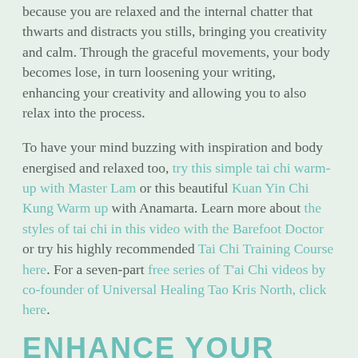because you are relaxed and the internal chatter that thwarts and distracts you stills, bringing you creativity and calm. Through the graceful movements, your body becomes lose, in turn loosening your writing, enhancing your creativity and allowing you to also relax into the process.
To have your mind buzzing with inspiration and body energised and relaxed too, try this simple tai chi warm-up with Master Lam or this beautiful Kuan Yin Chi Kung Warm up with Anamarta. Learn more about the styles of tai chi in this video with the Barefoot Doctor or try his highly recommended Tai Chi Training Course here. For a seven-part free series of T'ai Chi videos by co-founder of Universal Healing Tao Kris North, click here.
ENHANCE YOUR